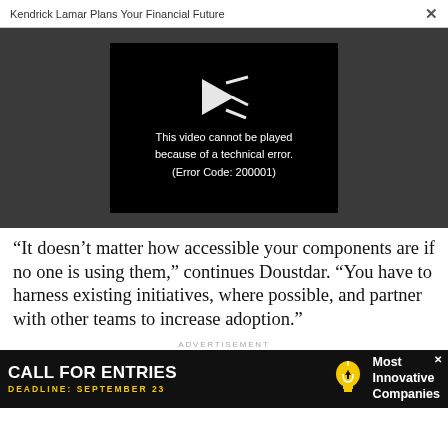Kendrick Lamar Plans Your Financial Future
[Figure (screenshot): Video player showing error: 'This video cannot be played because of a technical error. (Error Code: 200001)' with a broken play icon on black background, set against a dark gray video area.]
“It doesn’t matter how accessible your components are if no one is using them,” continues Doustdar. “You have to harness existing initiatives, where possible, and partner with other teams to increase adoption.”
ADVERTISEMENT
[Figure (screenshot): Advertisement banner: 'CALL FOR ENTRIES' in large white bold text, 'DEADLINE: SEPTEMBER 23' in yellow, lightbulb icon, 'Most Innovative Companies' text on black background.]